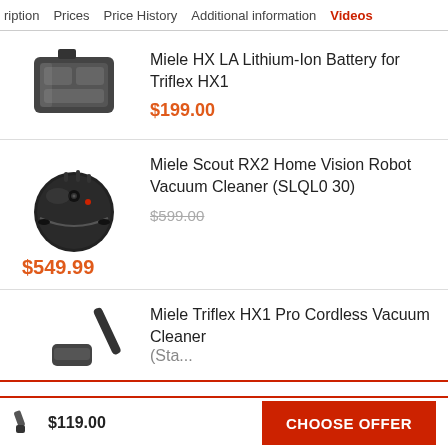ription  Prices  Price History  Additional information  Videos
Miele HX LA Lithium-Ion Battery for Triflex HX1
$199.00
Miele Scout RX2 Home Vision Robot Vacuum Cleaner (SLQL0 30)
$599.00 (original)
$549.99
Miele Triflex HX1 Pro Cordless Vacuum Cleaner
$119.00
CHOOSE OFFER